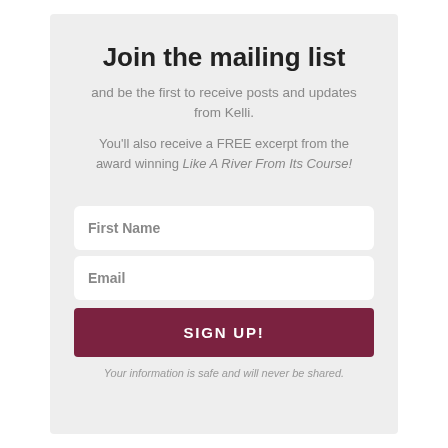Join the mailing list
and be the first to receive posts and updates from Kelli.
You'll also receive a FREE excerpt from the award winning Like A River From Its Course!
First Name
Email
SIGN UP!
Your information is safe and will never be shared.